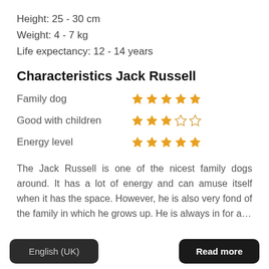Height: 25 - 30 cm
Weight: 4 - 7 kg
Life expectancy: 12 - 14 years
Characteristics Jack Russell
Family dog ★★★★★ (5/5 stars)
Good with children ★★★☆☆ (3/5 stars)
Energy level ★★★★★ (5/5 stars)
The Jack Russell is one of the nicest family dogs around. It has a lot of energy and can amuse itself when it has the space. However, he is also very fond of the family in which he grows up. He is always in for a...